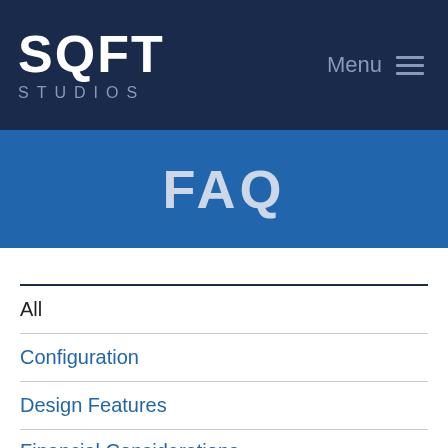SQFT STUDIOS — Menu
FAQ
All
Configuration
Design Features
Financial Considerations